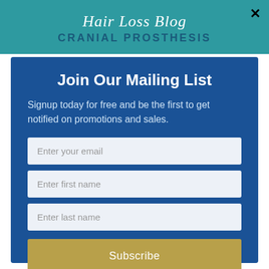[Figure (screenshot): Teal header strip showing 'Hair Loss Blog' in script font and 'CRANIAL PROSTHESIS' in bold caps below]
Join Our Mailing List
Signup today for free and be the first to get notified on promotions and sales.
Enter your email
Enter first name
Enter last name
Subscribe
powered by MailMunch